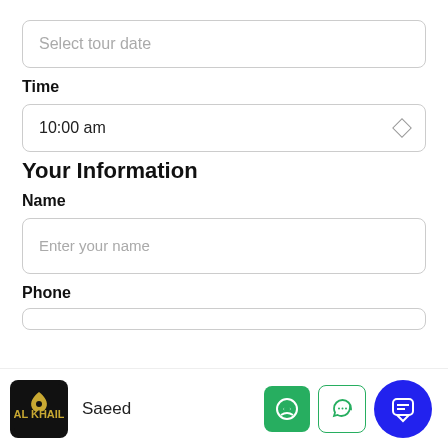Select tour date
Time
10:00 am
Your Information
Name
Enter your name
Phone
Saeed